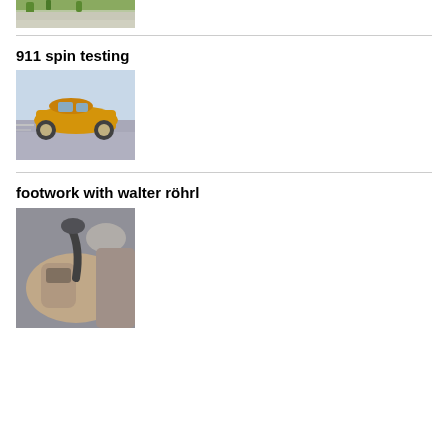[Figure (photo): Partial view of a car on a road with greenery, clipped at top of page]
911 spin testing
[Figure (photo): Orange Porsche 911 performing a spin test on a paved surface]
footwork with walter röhrl
[Figure (photo): Close-up blurry view of car footwell/pedal area, associated with Walter Röhrl footwork video]